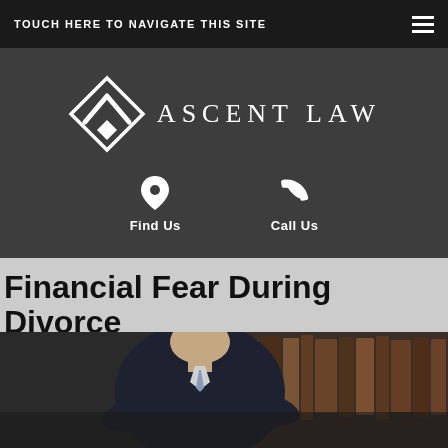TOUCH HERE TO NAVIGATE THIS SITE
[Figure (logo): Ascent Law logo: white diamond/chevron geometric mark with the text ASCENT LAW in white serif letters on dark grey background, with Find Us (location pin icon) and Call Us (phone icon) below]
Financial Fear During Divorce
[Figure (photo): A man in a dark suit with arms crossed standing in front of bookshelves filled with law books, viewed from chest up]